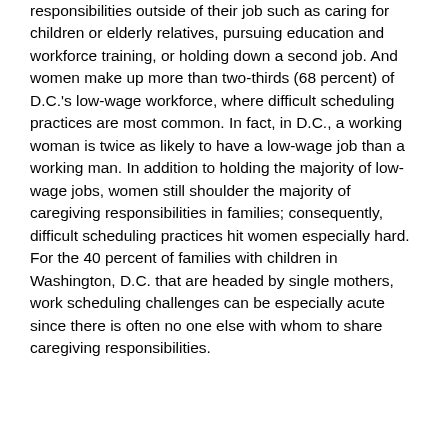responsibilities outside of their job such as caring for children or elderly relatives, pursuing education and workforce training, or holding down a second job. And women make up more than two-thirds (68 percent) of D.C.'s low-wage workforce, where difficult scheduling practices are most common. In fact, in D.C., a working woman is twice as likely to have a low-wage job than a working man. In addition to holding the majority of low-wage jobs, women still shoulder the majority of caregiving responsibilities in families; consequently, difficult scheduling practices hit women especially hard. For the 40 percent of families with children in Washington, D.C. that are headed by single mothers, work scheduling challenges can be especially acute since there is often no one else with whom to share caregiving responsibilities.